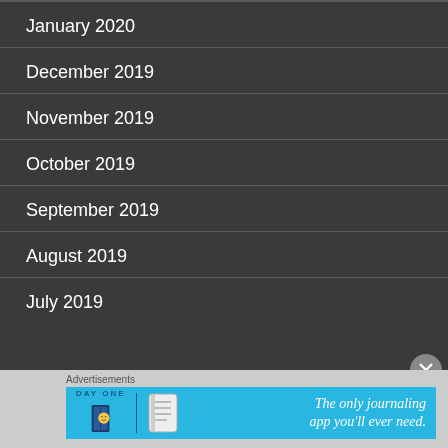January 2020
December 2019
November 2019
October 2019
September 2019
August 2019
July 2019
[Figure (screenshot): Advertisement banner for Day One journaling app with text: The only journaling app you'll ever need.]